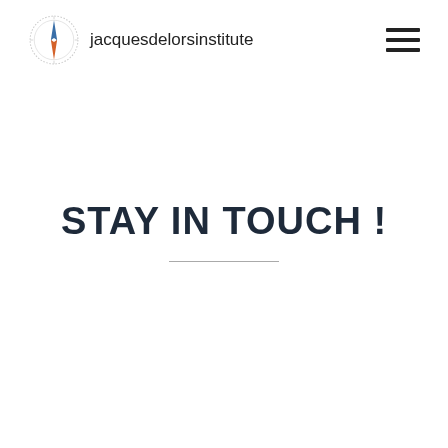jacquesdelorsinstitute
STAY IN TOUCH !